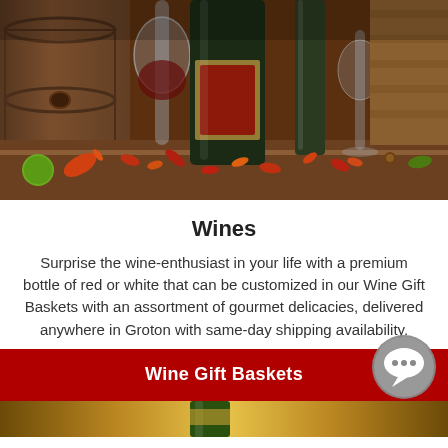[Figure (photo): Photo of wine bottles and wine glass surrounded by autumn leaves, dried flowers, and gourds on a wooden surface]
Wines
Surprise the wine-enthusiast in your life with a premium bottle of red or white that can be customized in our Wine Gift Baskets with an assortment of gourmet delicacies, delivered anywhere in Groton with same-day shipping availability.
Wine Gift Baskets
[Figure (photo): Bottom strip showing gold/amber gradient background with a green wine bottle visible]